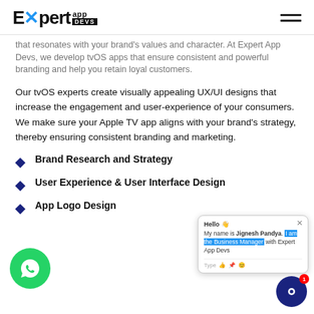Expert app DEVS
that resonates with your brand's values and character. At Expert App Devs, we develop tvOS apps that ensure consistent and powerful branding and help you retain loyal customers.
Our tvOS experts create visually appealing UX/UI designs that increase the engagement and user-experience of your consumers. We make sure your Apple TV app aligns with your brand's strategy, thereby ensuring consistent branding and marketing.
Brand Research and Strategy
User Experience & User Interface Design
App Logo Design